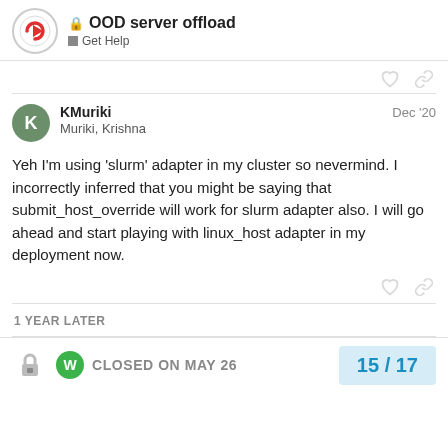OOD server offload — Get Help
KMuriki  Muriki, Krishna  Dec '20
Yeh I'm using 'slurm' adapter in my cluster so nevermind. I incorrectly inferred that you might be saying that submit_host_override will work for slurm adapter also. I will go ahead and start playing with linux_host adapter in my deployment now.
1 YEAR LATER
CLOSED ON MAY 26
15 / 17